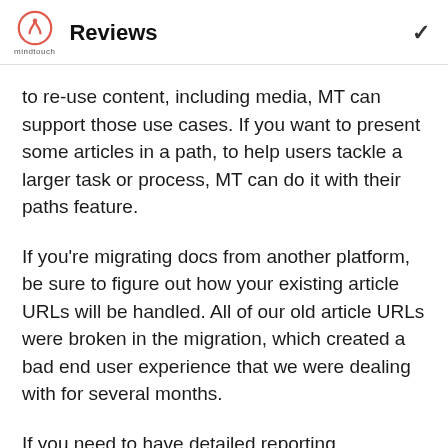Reviews
to re-use content, including media, MT can support those use cases. If you want to present some articles in a path, to help users tackle a larger task or process, MT can do it with their paths feature.
If you're migrating docs from another platform, be sure to figure out how your existing article URLs will be handled. All of our old article URLs were broken in the migration, which created a bad end user experience that we were dealing with for several months.
If you need to have detailed reporting capabilities on user activity, you'll probably have to connect MT to Google Analytics or another tool.